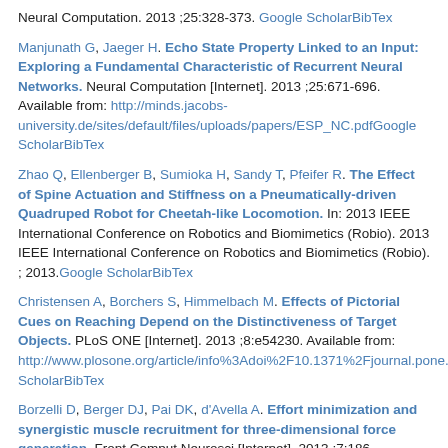Neural Computation. 2013 ;25:328-373. Google Scholar BibTex
Manjunath G, Jaeger H. Echo State Property Linked to an Input: Exploring a Fundamental Characteristic of Recurrent Neural Networks. Neural Computation [Internet]. 2013 ;25:671-696. Available from: http://minds.jacobs-university.de/sites/default/files/uploads/papers/ESP_NC.pdfGoogle ScholarBibTex
Zhao Q, Ellenberger B, Sumioka H, Sandy T, Pfeifer R. The Effect of Spine Actuation and Stiffness on a Pneumatically-driven Quadruped Robot for Cheetah-like Locomotion. In: 2013 IEEE International Conference on Robotics and Biomimetics (Robio). 2013 IEEE International Conference on Robotics and Biomimetics (Robio). ; 2013. Google Scholar BibTex
Christensen A, Borchers S, Himmelbach M. Effects of Pictorial Cues on Reaching Depend on the Distinctiveness of Target Objects. PLoS ONE [Internet]. 2013 ;8:e54230. Available from: http://www.plosone.org/article/info%3Adoi%2F10.1371%2Fjournal.pone.0054230DOIGoogle ScholarBibTex
Borzelli D, Berger DJ, Pai DK, d'Avella A. Effort minimization and synergistic muscle recruitment for three-dimensional force generation. Front Comput Neurosci [Internet]. 2013 ;7:186. Available from: http://...